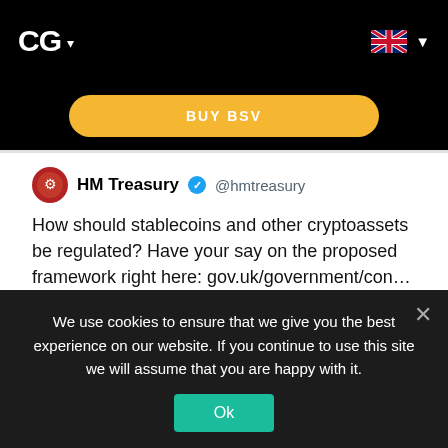CG ▾
[Figure (screenshot): BUY BSV yellow rounded button on black background]
HM Treasury @hmtreasury
How should stablecoins and other cryptoassets be regulated? Have your say on the proposed framework right here: gov.uk/government/con…
[Figure (screenshot): HM Treasury promotional image with glowing lines on dark background]
We use cookies to ensure that we give you the best experience on our website. If you continue to use this site we will assume that you are happy with it.